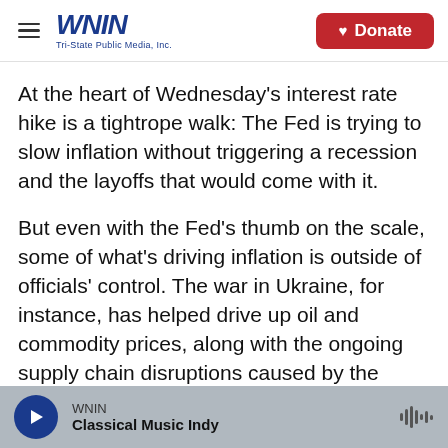WNIN Tri-State Public Media, Inc. | Donate
At the heart of Wednesday's interest rate hike is a tightrope walk: The Fed is trying to slow inflation without triggering a recession and the layoffs that would come with it.
But even with the Fed's thumb on the scale, some of what's driving inflation is outside of officials' control. The war in Ukraine, for instance, has helped drive up oil and commodity prices, along with the ongoing supply chain disruptions caused by the pandemic.
As a result, inflation has stayed hot. And that's
WNIN | Classical Music Indy